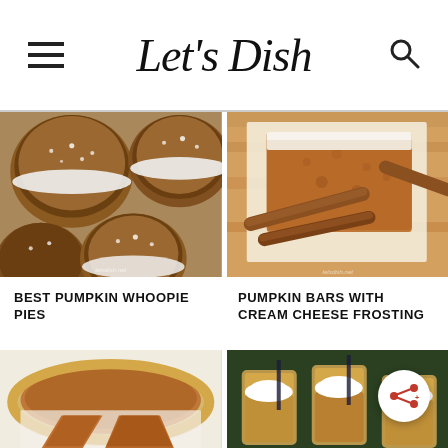Let's Dish
[Figure (photo): Overhead view of pumpkin whoopie pies dusted with powdered sugar on a metal tray]
[Figure (photo): Close-up of a pumpkin bar with cream cheese frosting and cinnamon sticks on parchment paper]
BEST PUMPKIN WHOOPIE PIES
PUMPKIN BARS WITH CREAM CHEESE FROSTING
[Figure (photo): Sliced pumpkin pie on a white plate from above]
[Figure (photo): Jars of pumpkin spice drinks topped with whipped cream]